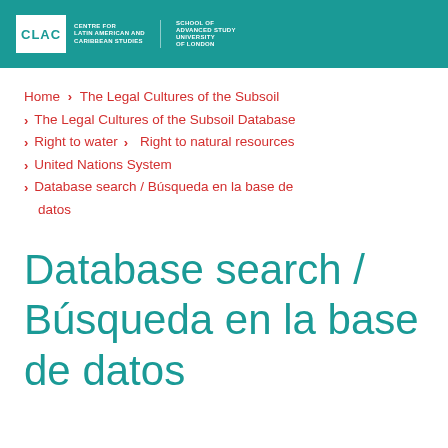[Figure (logo): CLAC Centre for Latin American and Caribbean Studies, School of Advanced Study, University of London logo on teal header bar]
Home > The Legal Cultures of the Subsoil > The Legal Cultures of the Subsoil Database > Right to water > Right to natural resources > United Nations System > Database search / Búsqueda en la base de datos
Database search / Búsqueda en la base de datos